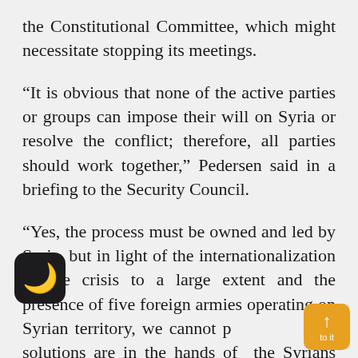the Constitutional Committee, which might necessitate stopping its meetings.
“It is obvious that none of the active parties or groups can impose their will on Syria or resolve the conflict; therefore, all parties should work together,” Pedersen said in a briefing to the Security Council.
“Yes, the process must be owned and led by Syria, but in light of the internationalization of the crisis to a large extent and the presence of five foreign armies operating on Syrian territory, we cannot p… that solutions are in the hands of the Syrians only or that the United Nations can d… it.